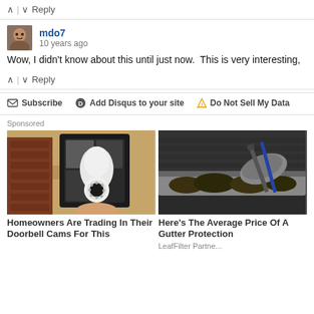▲ | ▼  Reply
mdo7
10 years ago
Wow, I didn't know about this until just now.  This is very interesting,
▲ | ▼  Reply
Subscribe   Add Disqus to your site   Do Not Sell My Data
Sponsored
[Figure (photo): Security camera shaped like a light bulb in an outdoor wall lamp fixture]
Homeowners Are Trading In Their Doorbell Cams For This
[Figure (photo): Gloved hand cleaning debris from a gutter with a tool]
Here's The Average Price Of A Gutter Protection
LeafFilter Partner   Search No...